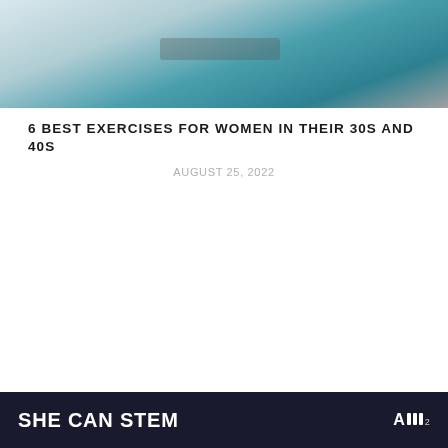[Figure (photo): Partial photo of a person in teal/blue workout leggings on outdoor stairs]
6 BEST EXERCISES FOR WOMEN IN THEIR 30S AND 40S
AUGUST 25, 2022
[Figure (infographic): Purple card with large decorative number, title reading '9 Signs You Have an Electrolyte Imbalance', heart/share buttons, count badge showing 1, and a 'What's Next' preview for Paleo Pumpkin-...]
SHE CAN STEM